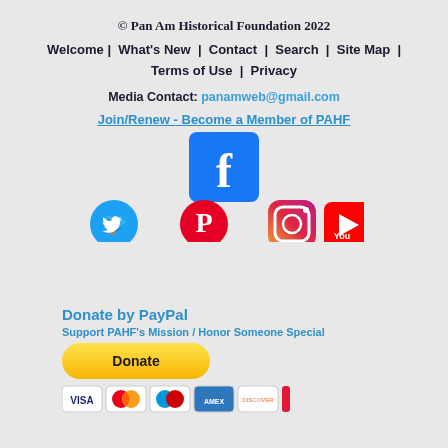© Pan Am Historical Foundation 2022
Welcome | What's New | Contact | Search | Site Map | Terms of Use | Privacy
Media Contact: panamweb@gmail.com
Join/Renew - Become a Member of PAHF
[Figure (logo): Social media icons: Facebook, Twitter, Pinterest, Instagram, YouTube]
Donate by PayPal
Support PAHF's Mission / Honor Someone Special
[Figure (other): PayPal Donate button with payment card icons (Visa, Mastercard, Maestro, Amex, Discover, UnionPay)]